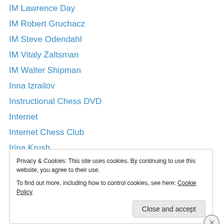IM Lawrence Day
IM Robert Gruchacz
IM Steve Odendahl
IM Vitaly Zaltsman
IM Walter Shipman
Inna Izrailov
Instructional Chess DVD
Internet
Internet Chess Club
Irina Krush
Irina Zenyuk
It's Your Move
Ivy League
Privacy & Cookies: This site uses cookies. By continuing to use this website, you agree to their use.
To find out more, including how to control cookies, see here: Cookie Policy
Close and accept